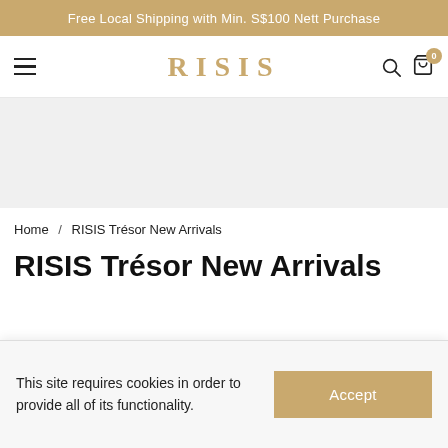Free Local Shipping with Min. S$100 Nett Purchase
[Figure (screenshot): RISIS brand logo navigation bar with hamburger menu, RISIS text logo in gold, search icon, and cart icon with badge showing 0]
[Figure (photo): Hero image area (light gray placeholder)]
Home / RISIS Trésor New Arrivals
RISIS Trésor New Arrivals
This site requires cookies in order to provide all of its functionality.